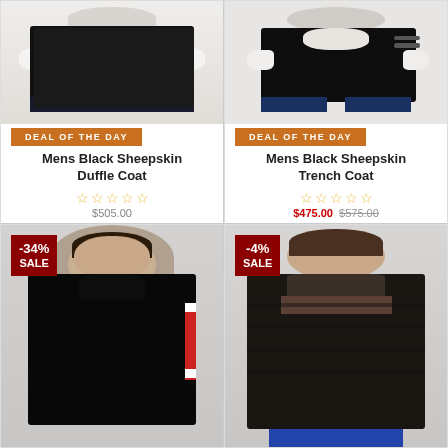[Figure (photo): Mens black sheepskin duffle coat on mannequin with 'DEAL OF THE DAY' orange banner]
DEAL OF THE DAY
Mens Black Sheepskin Duffle Coat
★★★★★ (0 stars)
$505.00
[Figure (photo): Mens black sheepskin trench coat on mannequin with 'DEAL OF THE DAY' orange banner]
DEAL OF THE DAY
Mens Black Sheepskin Trench Coat
★★★★★ (0 stars)
$475.00  $575.00
[Figure (photo): Male model wearing black leather racing jacket with stripe, -34% SALE badge]
-34%
SALE
[Figure (photo): Male model wearing dark leather quilted jacket, -4% SALE badge]
-4%
SALE